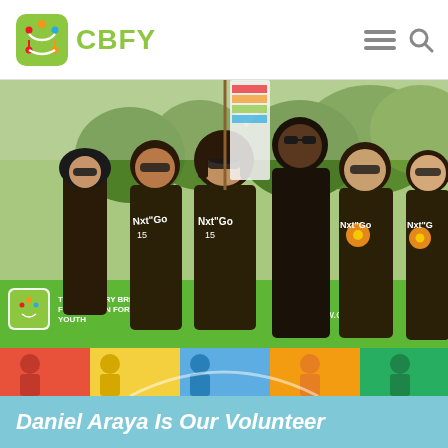CBFY
[Figure (photo): Group of diverse young volunteers in black t-shirts reading 'Nxt Gen' holding a green banner for The Calgary Bridge Foundation for Youth (CBFY) at an outdoor event. Banner shows www.cbfy.ca. Trees visible in background.]
[Figure (photo): Colorful strip image with illustrated people and rainbow colors]
Daniel Araya Is Our Volunteer